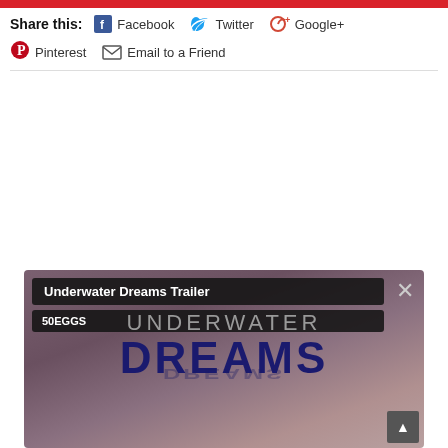Share this: | Facebook | Twitter | Google+ | Pinterest | Email to a Friend
[Figure (screenshot): Video player card showing 'Underwater Dreams Trailer' from channel '50EGGS'. Background is a moody purple-grey sky with reflection. Large text reads 'UNDERWATER DREAMS' with a reflection below. Close button (×) in top right, scroll-to-top button in bottom right.]